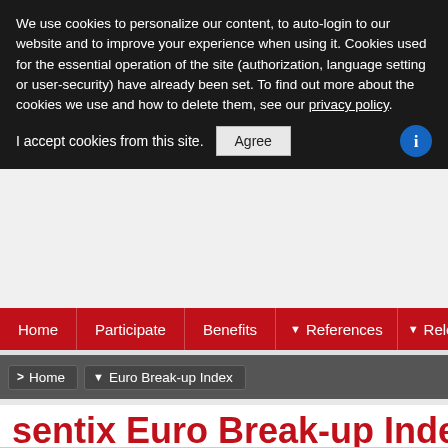We use cookies to personalize our content, to auto-login to our website and to improve your experience when using it. Cookies used for the essential operation of the site (authorization, language setting or user-security) have already been set. To find out more about the cookies we use and how to delete them, see our privacy policy.
I accept cookies from this site. Agree
[Figure (screenshot): Navigation bar with red background containing menu items: Home, Participate, Benefits, References (with dropdown), Release sch...]
[Figure (screenshot): Breadcrumb navigation bar with dark grey background containing: Home > Euro Break-up Index]
sentix Euro Break-up Index N
On this page we provide information about the latest development of the sentix Eu... institutional investors rate the probabilty of a breakup of the euro area (leaving at l... particularly affected.
Access to all charts for regsitered sentix voters